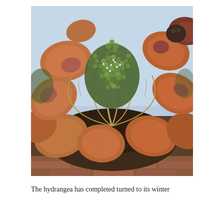[Figure (photo): Close-up photograph of a hydrangea plant in winter, showing dried brown and rust-colored petals surrounding green budding flower clusters in the center. The plant appears to be in a pot or garden setting, with brick visible at the bottom.]
The hydrangea has completed turned to its winter